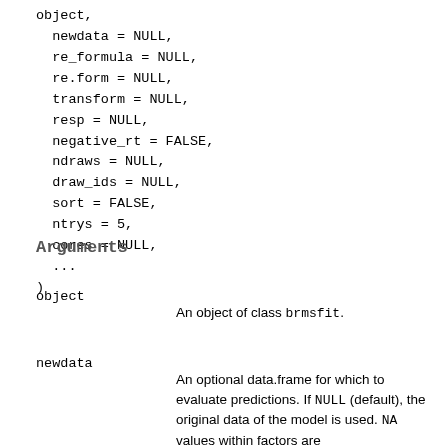object,
  newdata = NULL,
  re_formula = NULL,
  re.form = NULL,
  transform = NULL,
  resp = NULL,
  negative_rt = FALSE,
  ndraws = NULL,
  draw_ids = NULL,
  sort = FALSE,
  ntrys = 5,
  cores = NULL,
  ...
)
Arguments
object
An object of class brmsfit.
newdata
An optional data.frame for which to evaluate predictions. If NULL (default), the original data of the model is used. NA values within factors are